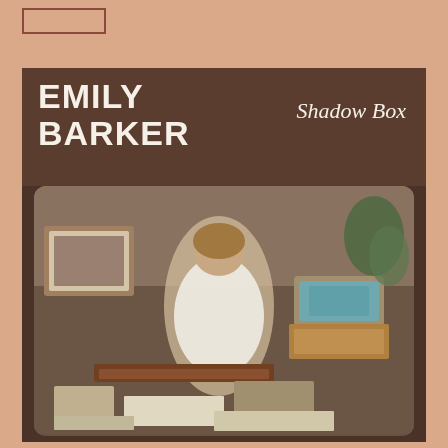[Figure (other): Small rectangular outline/box element in upper left area, brownish-red border on peach background]
[Figure (photo): Album cover for Emily Barker - Shadow Box. Dark brown header area with bold white text 'EMILY BARKER' on left and cursive script 'Shadow Box' on right. Below is a photograph of a woman with short hair wearing a white blouse, sitting on the floor surrounded by vinyl records, photographs, a turntable on wooden crates, framed pictures, and various memorabilia items.]